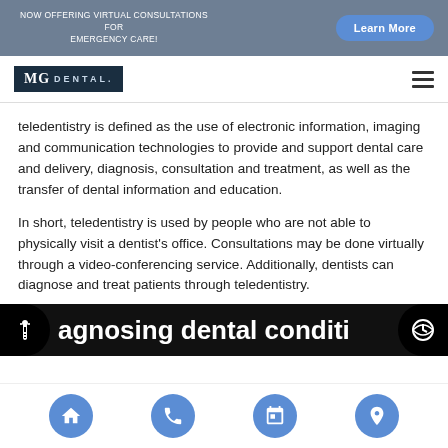NOW OFFERING VIRTUAL CONSULTATIONS FOR EMERGENCY CARE! | Learn More
[Figure (logo): MG Dental logo with dark background and text 'MG DENTAL']
teledentistry is defined as the use of electronic information, imaging and communication technologies to provide and support dental care and delivery, diagnosis, consultation and treatment, as well as the transfer of dental information and education.
In short, teledentistry is used by people who are not able to physically visit a dentist's office. Consultations may be done virtually through a video-conferencing service. Additionally, dentists can diagnose and treat patients through teledentistry.
Diagnosing dental conditions
Home | Phone | Calendar | Location navigation icons